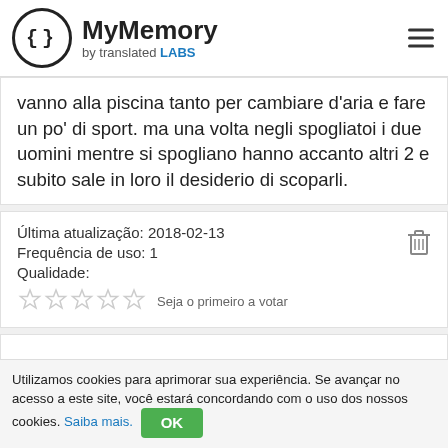MyMemory by translated LABS
vanno alla piscina tanto per cambiare d'aria e fare un po' di sport. ma una volta negli spogliatoi i due uomini mentre si spogliano hanno accanto altri 2 e subito sale in loro il desiderio di scoparli.
Última atualização: 2018-02-13
Frequência de uso: 1
Qualidade:
☆☆☆☆☆ Seja o primeiro a votar
Utilizamos cookies para aprimorar sua experiência. Se avançar no acesso a este site, você estará concordando com o uso dos nossos cookies. Saiba mais.